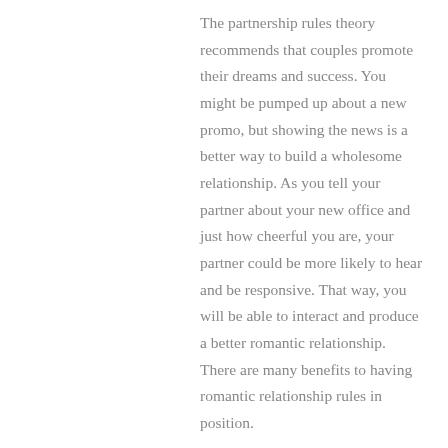The partnership rules theory recommends that couples promote their dreams and success. You might be pumped up about a new promo, but showing the news is a better way to build a wholesome relationship. As you tell your partner about your new office and just how cheerful you are, your partner could be more likely to hear and be responsive. That way, you will be able to interact and produce a better romantic relationship. There are many benefits to having romantic relationship rules in position.
A strong romantic relationship requirements constant nutriment. To strengthen your bond, you must spend time together on a regular basis. This may include a new hobby, or perhaps going on